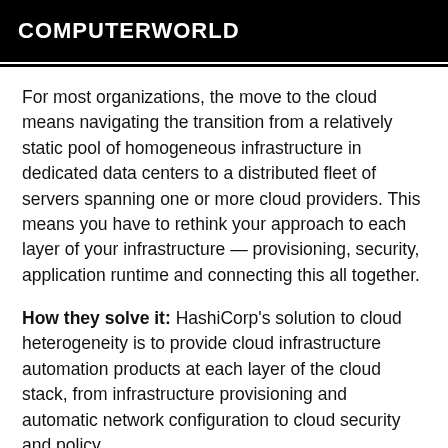COMPUTERWORLD
For most organizations, the move to the cloud means navigating the transition from a relatively static pool of homogeneous infrastructure in dedicated data centers to a distributed fleet of servers spanning one or more cloud providers. This means you have to rethink your approach to each layer of your infrastructure — provisioning, security, application runtime and connecting this all together.
How they solve it: HashiCorp's solution to cloud heterogeneity is to provide cloud infrastructure automation products at each layer of the cloud stack, from infrastructure provisioning and automatic network configuration to cloud security and policy